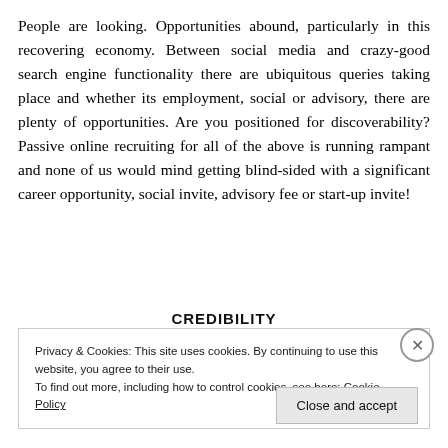People are looking. Opportunities abound, particularly in this recovering economy. Between social media and crazy-good search engine functionality there are ubiquitous queries taking place and whether its employment, social or advisory, there are plenty of opportunities. Are you positioned for discoverability? Passive online recruiting for all of the above is running rampant and none of us would mind getting blind-sided with a significant career opportunity, social invite, advisory fee or start-up invite!
CREDIBILITY
Privacy & Cookies: This site uses cookies. By continuing to use this website, you agree to their use.
To find out more, including how to control cookies, see here: Cookie Policy